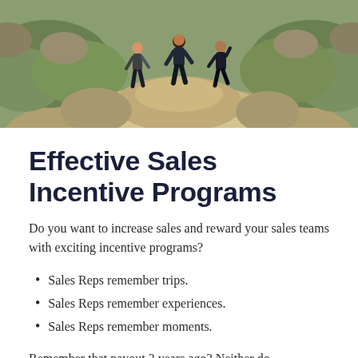[Figure (photo): Three people hiking on rocky terrain with green shrubs and boulders in the background, viewed from behind]
Effective Sales Incentive Programs
Do you want to increase sales and reward your sales teams with exciting incentive programs?
Sales Reps remember trips.
Sales Reps remember experiences.
Sales Reps remember moments.
Remember that payout 3 years ago? Neither do